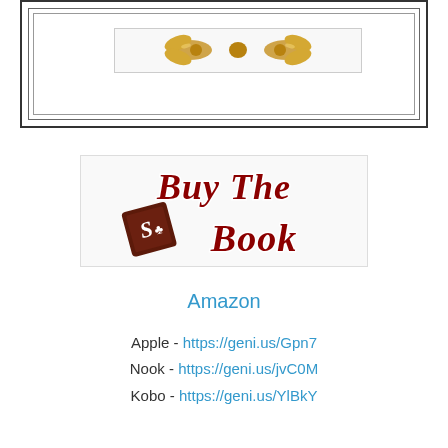[Figure (illustration): Decorative framed area with triple border lines and a centered image box containing golden bow/crown decoration at the top of the page]
[Figure (logo): Buy The Book logo in dark red cursive script with a chocolate/book tile icon on the left side]
Amazon
Apple - https://geni.us/Gpn7
Nook - https://geni.us/jvC0M
Kobo - https://geni.us/YlBkY